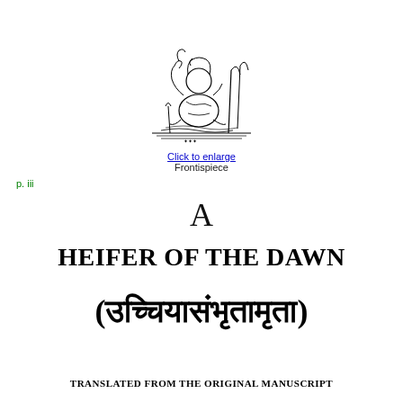[Figure (illustration): Black and white line drawing of a seated figure (possibly a deity or sage) in a natural setting with plants and water, used as frontispiece illustration]
Click to enlarge
Frontispiece
p. iii
A
HEIFER OF THE DAWN
(उिच्चयासंभृतामृता)
TRANSLATED FROM THE ORIGINAL MANUSCRIPT